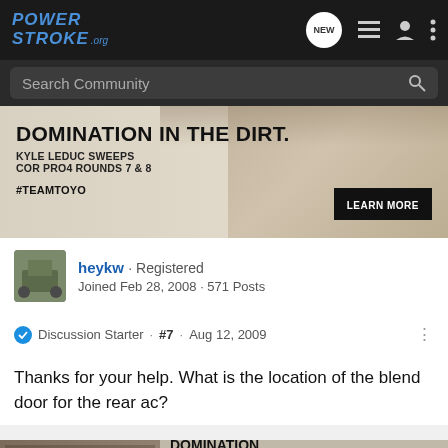PowerStroke.org — NEW — navigation icons
Search Community
[Figure (advertisement): Toyo Tires advertisement: DOMINATION IN THE DIRT. KYLE LEDUC SWEEPS COR PRO4 ROUNDS 7 & 8. #TEAMTOYO. LEARN MORE button.]
heykw · Registered
Joined Feb 28, 2008 · 571 Posts
Discussion Starter · #7 · Aug 12, 2009
Thanks for your help. What is the location of the blend door for the rear ac?
[Figure (advertisement): Toyo Tires bottom advertisement: DOMINATION IN THE DIRT. TOYO TIRES #TEAMTOYO. LEARN MORE.]